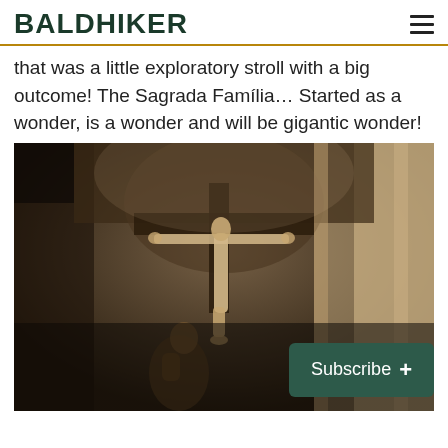BALDHIKER
that was a little exploratory stroll with a big outcome! The Sagrada Família… Started as a wonder, is a wonder and will be gigantic wonder!
[Figure (photo): A photograph of a crucifixion sculpture inside the Sagrada Família, showing a figure of Christ on the cross with stone architectural elements around it, and a kneeling figure below. Dark, shadowy interior with warm stone tones.]